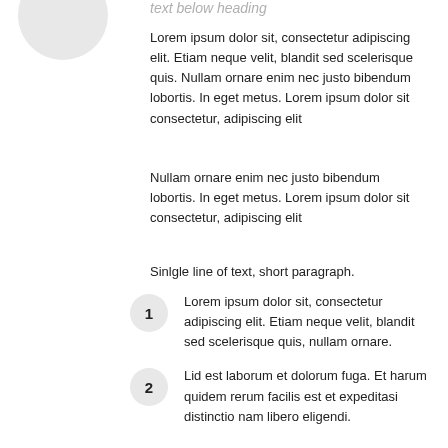text below heading
Lorem ipsum dolor sit, consectetur adipiscing elit. Etiam neque velit, blandit sed scelerisque quis. Nullam ornare enim nec justo bibendum lobortis. In eget metus. Lorem ipsum dolor sit consectetur, adipiscing elit
Nullam ornare enim nec justo bibendum lobortis. In eget metus. Lorem ipsum dolor sit consectetur, adipiscing elit
Sinlgle line of text, short paragraph.
Lorem ipsum dolor sit, consectetur adipiscing elit. Etiam neque velit, blandit sed scelerisque quis, nullam ornare.
Lid est laborum et dolorum fuga. Et harum quidem rerum facilis est et expeditasi distinctio nam libero eligendi.